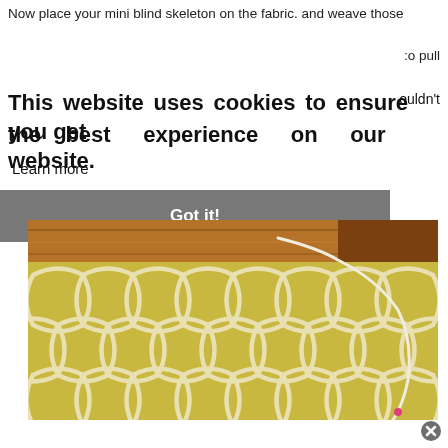Now place your mini blind skeleton on the fabric. and weave those
:o pull
This website uses cookies to ensure you get the best experience on our website.
ouldn't
Learn more
Got it!
[Figure (photo): Yellow and white geometric patterned fabric with a white cord/string running through it, laid on a wooden surface. A pink pin is visible at the bottom right.]